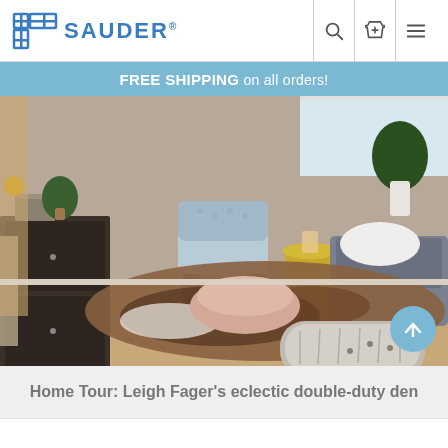SAUDER
FREE SHIPPING on all orders!
[Figure (photo): Interior room photo showing an eclectic den with a light blue accent chair, gold hourglass side table, dark wood dresser/cabinet, cowhide rug, pink pouf, gray shag floor pillow, gray sofa, and indoor plants.]
Home Tour: Leigh Fager's eclectic double-duty den